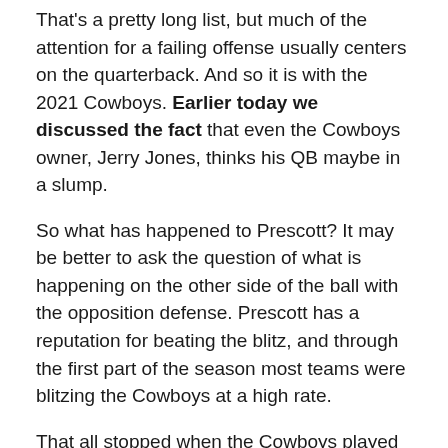That's a pretty long list, but much of the attention for a failing offense usually centers on the quarterback. And so it is with the 2021 Cowboys. Earlier today we discussed the fact that even the Cowboys owner, Jerry Jones, thinks his QB maybe in a slump.
So what has happened to Prescott? It may be better to ask the question of what is happening on the other side of the ball with the opposition defense. Prescott has a reputation for beating the blitz, and through the first part of the season most teams were blitzing the Cowboys at a high rate.
That all stopped when the Cowboys played the Broncos. There was probably more to that blueprint thing people were claiming than we gave credit to at the time.